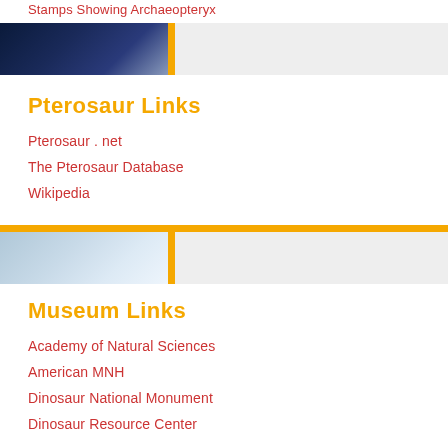Stamps Showing Archaeopteryx
[Figure (illustration): Dark blue/night sky banner image with partial view, next to light gray panel]
Pterosaur Links
Pterosaur . net
The Pterosaur Database
Wikipedia
[Figure (illustration): Light blue/cloud/water texture banner image next to light gray panel]
Museum Links
Academy of Natural Sciences
American MNH
Dinosaur National Monument
Dinosaur Resource Center